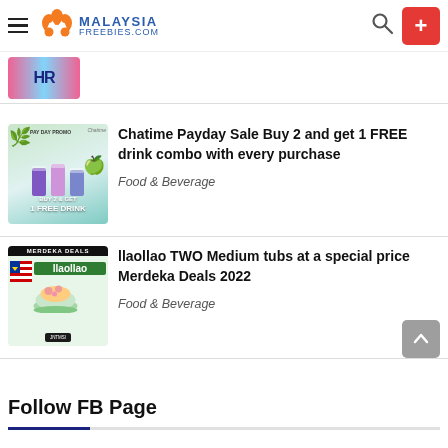Malaysia Freebies .com
[Figure (photo): Partial promotional banner image with pink and blue colors]
[Figure (photo): Chatime Payday Sale promotional image showing buy 2 get 1 free drink]
Chatime Payday Sale Buy 2 and get 1 FREE drink combo with every purchase
Food & Beverage
[Figure (photo): llaollao Merdeka Deals 2022 promotional image with Malaysian flag and yogurt bowl]
llaollao TWO Medium tubs at a special price Merdeka Deals 2022
Food & Beverage
Follow FB Page